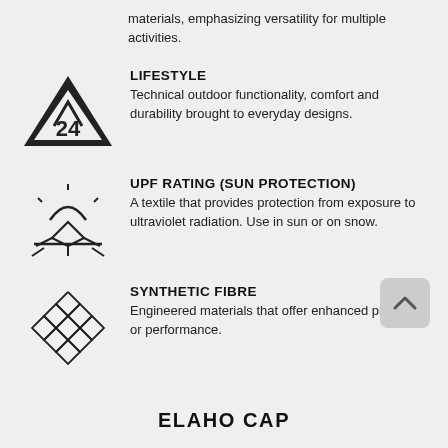materials, emphasizing versatility for multiple activities.
[Figure (illustration): Mountain peaks icon with '24' inside a triangle]
LIFESTYLE
Technical outdoor functionality, comfort and durability brought to everyday designs.
[Figure (illustration): UPF sun protection icon showing sun rays hitting a surface with arrows]
UPF RATING (SUN PROTECTION)
A textile that provides protection from exposure to ultraviolet radiation. Use in sun or on snow.
[Figure (illustration): Woven/mesh fabric texture icon]
SYNTHETIC FIBRE
Engineered materials that offer enhanced properties or performance.
ELAHO CAP